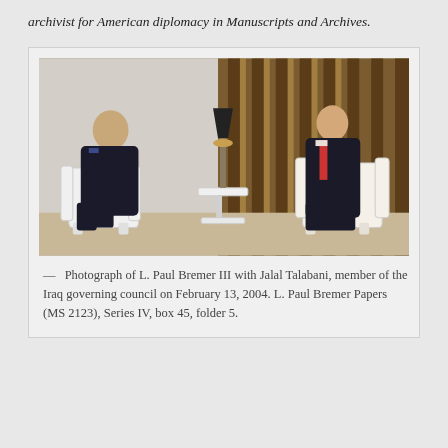archivist for American diplomacy in Manuscripts and Archives.
[Figure (photo): Photograph of two men seated in ornate white chairs in a formal room with gold-striped curtains and a lamp between them. One man on the left wears a dark suit, the other on the right wears a dark suit with a red tie.]
Photograph of L. Paul Bremer III with Jalal Talabani, member of the Iraq governing council on February 13, 2004. L. Paul Bremer Papers (MS 2123), Series IV, box 45, folder 5.